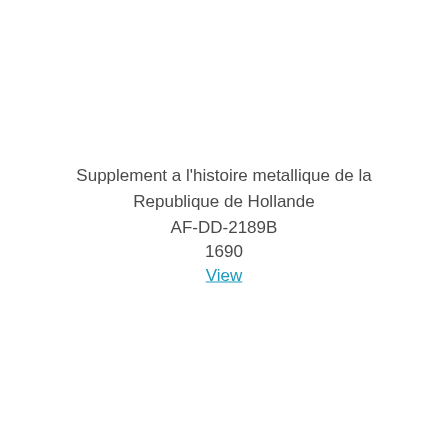Supplement a l'histoire metallique de la Republique de Hollande
AF-DD-2189B
1690
View